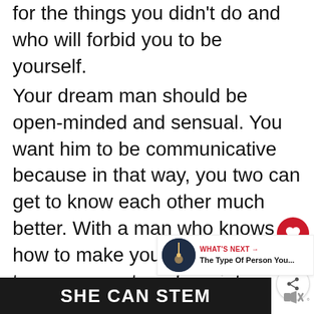for the things you didn't do and who will forbid you to be yourself.
Your dream man should be open-minded and sensual. You want him to be communicative because in that way, you two can get to know each other much better. With a man who knows how to make your dreams come true, you can transform into a strong woman who gets her strength from the man standing behind her and making sure she is safe.
[Figure (screenshot): SHE CAN STEM advertisement banner at the bottom of the page, dark background with white bold text.]